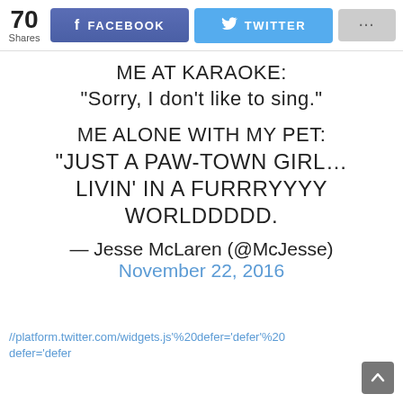70 Shares | FACEBOOK | TWITTER | ...
ME AT KARAOKE:
“Sorry, I don’t like to sing.”

ME ALONE WITH MY PET:
“JUST A PAW-TOWN GIRL… LIVIN’ IN A FURRRYYYY WORLDDDDD.
— Jesse McLaren (@McJesse)
November 22, 2016
//platform.twitter.com/widgets.js'%20defer='defer'%20defer='defer